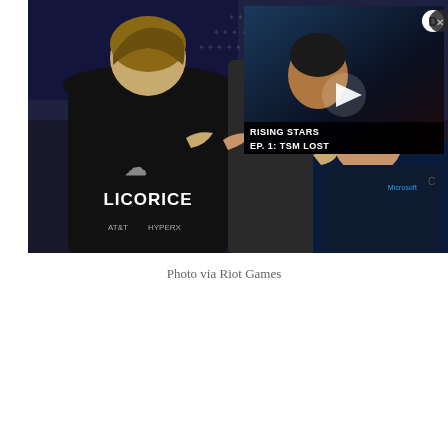[Figure (photo): A photo of esports players in a team huddle, seen from behind. The central player wears a black jersey with 'LICORICE' printed on the back and Cloud9 logo, plus AT&T and HyperX sponsor logos. Players are celebrating with handshakes. An embedded video thumbnail overlays the top-right corner showing a player with text 'RISING STARS EP. 1: TSM LOST' with a play button and Dailymotion logo. A close button (X) appears in the top-right. The lower right shows another player in a Team Liquid jersey.]
Photo via Riot Games